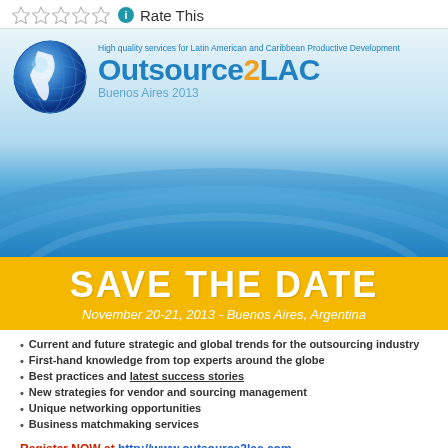Rate This
[Figure (logo): Outsource2LAC Buenos Aires 2013 logo with globe and blue arc design, Save the Date banner for November 20-21, 2013 - Buenos Aires, Argentina]
Current and future strategic and global trends for the outsourcing industry
First-hand knowledge from top experts around the globe
Best practices and latest success stories
New strategies for vendor and sourcing management
Unique networking opportunities
Business matchmaking services
Register NOW at http://www.outsource2lac.com
Privacy & Cookies: This site uses cookies. By continuing to use this website, you agree to their use.
To find out more, including how to control cookies, see here: Cookie Policy
Close and accept
The Inter American Development Bank (IDB) is